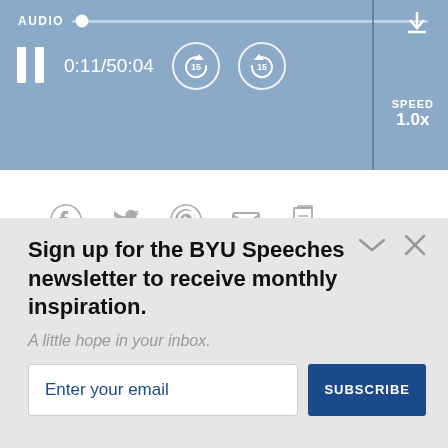[Figure (screenshot): Audio player bar with blue background showing AUDIO label, progress slider, pause button, time 0:11/50:04, rewind 15s, forward 15s, SPEED 1.0x, and download icon]
[Figure (screenshot): Social sharing icons row: Facebook, Twitter, Pinterest, Email, Print/Copy]
SEE ALSO
Sign up for the BYU Speeches newsletter to receive monthly inspiration.
A little hope in your inbox.
Enter your email
SUBSCRIBE